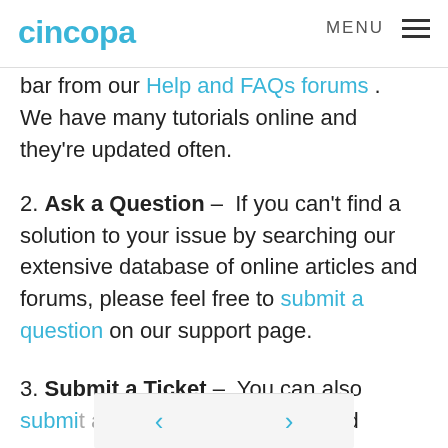cincopa  MENU
bar from our Help and FAQs forums . We have many tutorials online and they're updated often.
2. Ask a Question –  If you can't find a solution to your issue by searching our extensive database of online articles and forums, please feel free to submit a question on our support page.
3. Submit a Ticket –  You can also submit a ticket into our system and